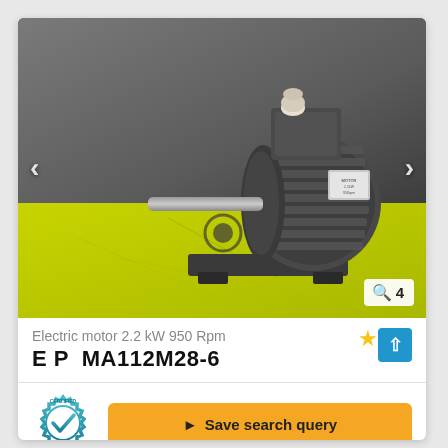[Figure (photo): Photograph of an industrial electric motor (2.2 kW 950 Rpm, model EP MA112M28-6) with ribbed grey cast iron body, output shaft on left, mounting base, and a white cable gland on top. Motor is placed on a yellow surface. Image has left/right navigation arrows and a zoom badge showing '4'.]
Electric motor 2.2 kW 950 Rpm
E P  MA112M28-6
[Figure (logo): Circular 'CERTIFIED' badge with a blue gear outline and a blue checkmark in the center.]
Save search query